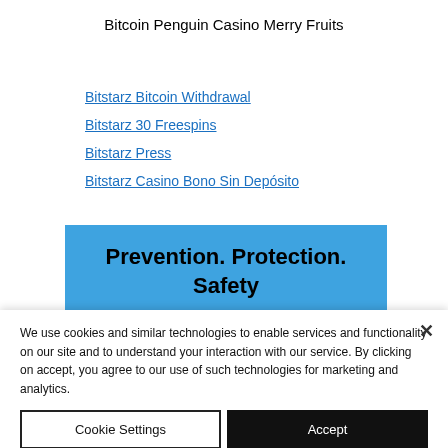Bitcoin Penguin Casino Merry Fruits
Bitstarz Bitcoin Withdrawal
Bitstarz 30 Freespins
Bitstarz Press
Bitstarz Casino Bono Sin Depósito
[Figure (other): Blue promotional banner with text: Prevention. Protection. Safety. Dealing with all kinds of security and]
We use cookies and similar technologies to enable services and functionality on our site and to understand your interaction with our service. By clicking on accept, you agree to our use of such technologies for marketing and analytics.
Cookie Settings | Accept